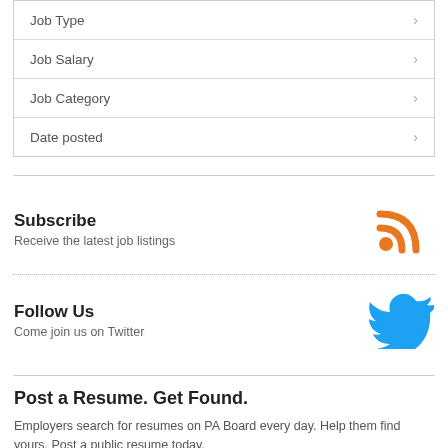| Job Type | > |
| Job Salary | > |
| Job Category | > |
| Date posted | > |
Subscribe
Receive the latest job listings
Follow Us
Come join us on Twitter
Post a Resume. Get Found.
Employers search for resumes on PA Board every day. Help them find yours. Post a public resume today.